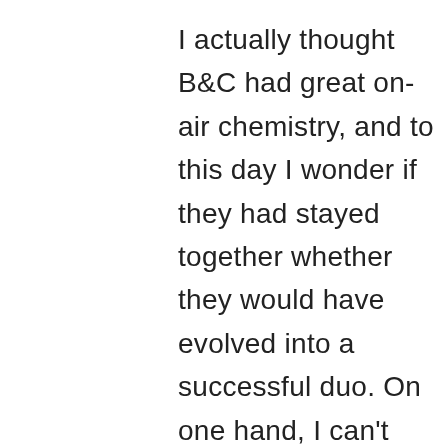I actually thought B&C had great on-air chemistry, and to this day I wonder if they had stayed together whether they would have evolved into a successful duo. On one hand, I can't envision Barkann trying to do a news headlines-type segment because his personality is a 180 from that of John Dennis. On the other hand, a B&C pairing would've stuck to sports and Callahan